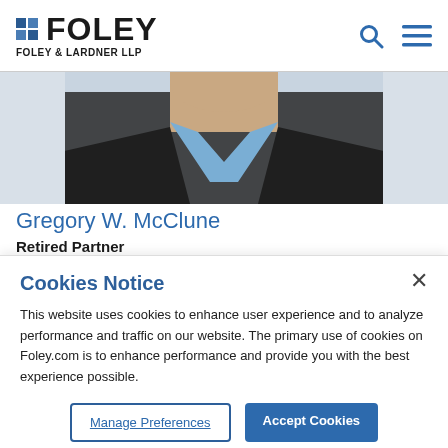FOLEY | FOLEY & LARDNER LLP
[Figure (photo): Partial photo of Gregory W. McClune, showing neck and lower face area with blue striped shirt and dark suit jacket, against a light grey background]
Gregory W. McClune
Retired Partner
Cookies Notice
This website uses cookies to enhance user experience and to analyze performance and traffic on our website. The primary use of cookies on Foley.com is to enhance performance and provide you with the best experience possible.
Manage Preferences | Accept Cookies